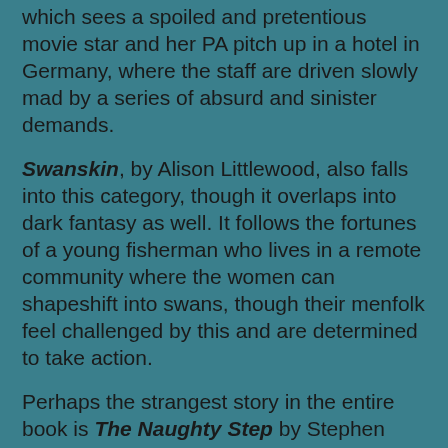which sees a spoiled and pretentious movie star and her PA pitch up in a hotel in Germany, where the staff are driven slowly mad by a series of absurd and sinister demands.
Swanskin, by Alison Littlewood, also falls into this category, though it overlaps into dark fantasy as well. It follows the fortunes of a young fisherman who lives in a remote community where the women can shapeshift into swans, though their menfolk feel challenged by this and are determined to take action.
Perhaps the strangest story in the entire book is The Naughty Step by Stephen Volk despite its deceptively prosaic urban setting, but it's also one of the best, so more about this one later too.
One thing I found particularly interesting about After Sundown was the way so many of the stories have been consciously written on a small canvas. This is very much in keeping with the horror story custom – they are so often very personal experiences for their protagonists. But a couple of the stories in After Sundown take the 'personal' to a whole